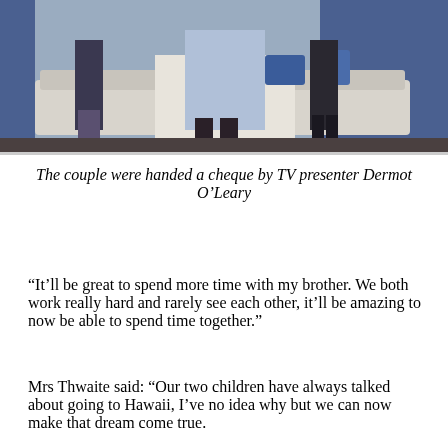[Figure (photo): Photo showing a couple and another person seated/standing in a lounge setting with sofas and blue decorative background, lower portions of their bodies visible.]
The couple were handed a cheque by TV presenter Dermot O'Leary
“It’ll be great to spend more time with my brother. We both work really hard and rarely see each other, it’ll be amazing to now be able to spend time together.”
Mrs Thwaite said: “Our two children have always talked about going to Hawaii, I’ve no idea why but we can now make that dream come true.